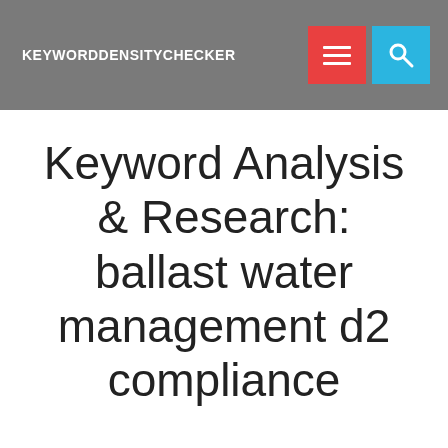KEYWORDDENSITYCHECKER
Keyword Analysis & Research: ballast water management d2 compliance